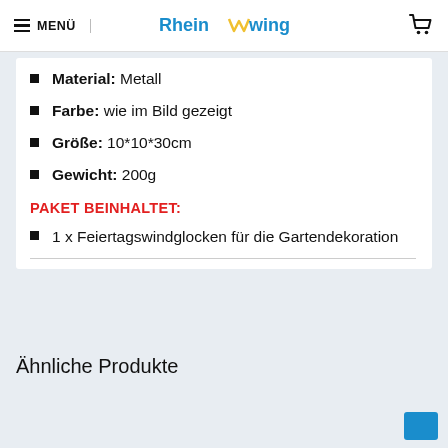MENÜ | RheinWing [cart icon]
Material: Metall
Farbe: wie im Bild gezeigt
Größe: 10*10*30cm
Gewicht: 200g
PAKET BEINHALTET:
1  x Feiertagswindglocken für die Gartendekoration
Ähnliche Produkte